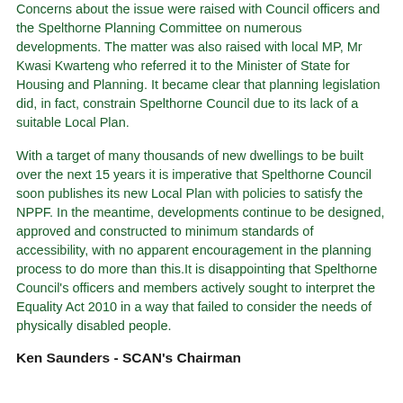Concerns about the issue were raised with Council officers and the Spelthorne Planning Committee on numerous developments. The matter was also raised with local MP, Mr Kwasi Kwarteng who referred it to the Minister of State for Housing and Planning. It became clear that planning legislation did, in fact, constrain Spelthorne Council due to its lack of a suitable Local Plan.
With a target of many thousands of new dwellings to be built over the next 15 years it is imperative that Spelthorne Council soon publishes its new Local Plan with policies to satisfy the NPPF. In the meantime, developments continue to be designed, approved and constructed to minimum standards of accessibility, with no apparent encouragement in the planning process to do more than this.It is disappointing that Spelthorne Council's officers and members actively sought to interpret the Equality Act 2010 in a way that failed to consider the needs of physically disabled people.
Ken Saunders - SCAN's Chairman